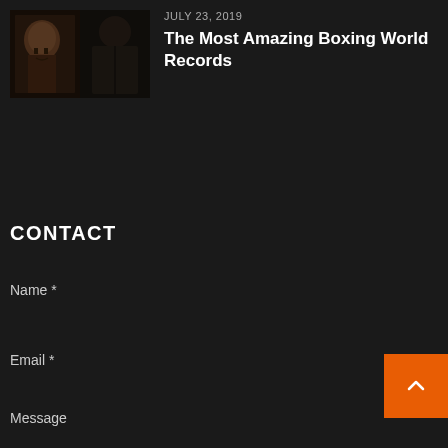[Figure (photo): Two boxing photos side by side: left shows a boxer's face/torso, right shows a boxer's back/shoulders in dark lighting]
JULY 23, 2019
The Most Amazing Boxing World Records
CONTACT
Name *
Email *
Message